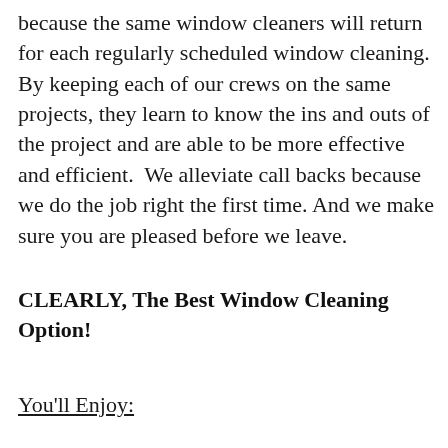because the same window cleaners will return for each regularly scheduled window cleaning. By keeping each of our crews on the same projects, they learn to know the ins and outs of the project and are able to be more effective and efficient.  We alleviate call backs because we do the job right the first time. And we make sure you are pleased before we leave.
CLEARLY, The Best Window Cleaning Option!
You'll Enjoy: